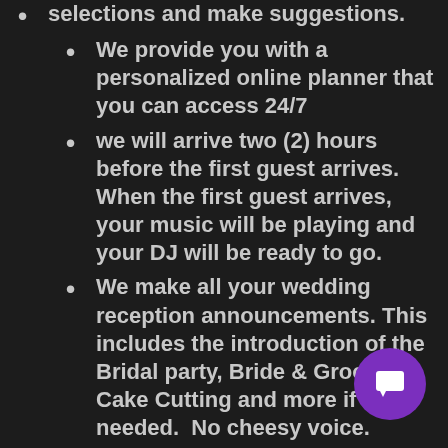selections and make suggestions.
We provide you with a personalized online planner that you can access 24/7
we will arrive two (2) hours before the first guest arrives. When the first guest arrives, your music will be playing and your DJ will be ready to go.
We make all your wedding reception announcements. This includes the introduction of the Bridal party, Bride & Groom, Cake Cutting and more if needed.  No cheesy voice.
We have over 400,000 songs in our library.  From 50's, 60's, 70's, 80's, 90's, Disco, Motown, Rock,  Hip Hop, Reggae, Country, Swing,  R&B, Punk & much more.
We also offer uplighting, monograms,